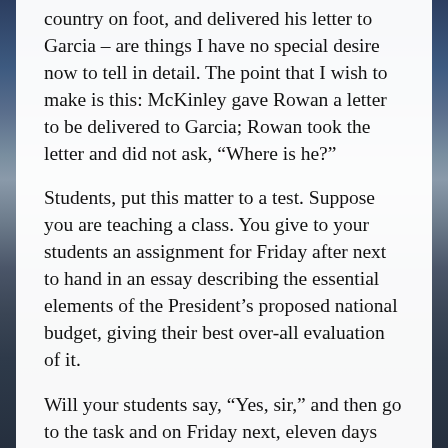country on foot, and delivered his letter to Garcia – are things I have no special desire now to tell in detail. The point that I wish to make is this: McKinley gave Rowan a letter to be delivered to Garcia; Rowan took the letter and did not ask, “Where is he?”
Students, put this matter to a test. Suppose you are teaching a class. You give to your students an assignment for Friday after next to hand in an essay describing the essential elements of the President’s proposed national budget, giving their best over-all evaluation of it.
Will your students say, “Yes, sir,” and then go to the task and on Friday next, eleven days from today, hand in the finished assignment? Or will they come to you individually and ask: “Where can I find the President’s budget?” “Where is the